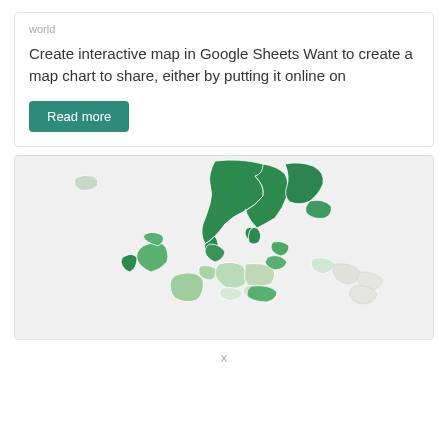world
Create interactive map in Google Sheets Want to create a map chart to share, either by putting it online on
Read more
[Figure (map): Interactive choropleth map of Europe showing Scandinavian countries (Norway, Sweden, Finland) in dark green, UK, Ireland, Germany, Poland and Baltic states in medium or light green, other countries in light grey.]